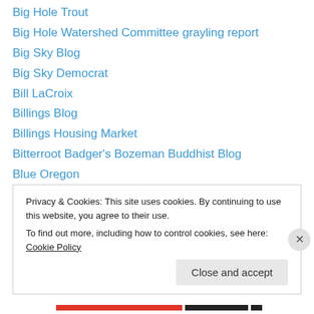Big Hole Trout
Big Hole Watershed Committee grayling report
Big Sky Blog
Big Sky Democrat
Bill LaCroix
Billings Blog
Billings Housing Market
Bitterroot Badger's Bozeman Buddhist Blog
Blue Oregon
Bunk in the West
Button Valley Bugle
Buzztail
Charley Carp's
Privacy & Cookies: This site uses cookies. By continuing to use this website, you agree to their use. To find out more, including how to control cookies, see here: Cookie Policy
Close and accept